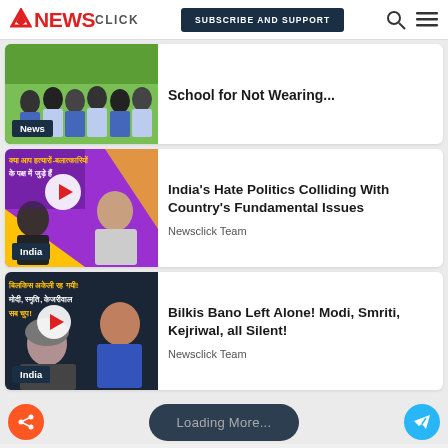Newsclick — SUBSCRIBE AND SUPPORT
Thrown Out of Bikaner School for Not Wearing... [News]
India's Hate Politics Colliding With Country's Fundamental Issues — Newsclick Team [India]
Bilkis Bano Left Alone! Modi, Smriti, Kejriwal, all Silent! — Newsclick Team [India]
Loading More...